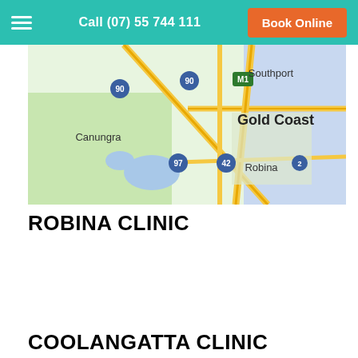Call (07) 55 744 111 | Book Online
[Figure (map): Google Maps view showing Gold Coast area including Southport, Robina, Canungra with road numbers 90, 97, 42, M1, and 2]
ROBINA CLINIC
COOLANGATTA CLINIC